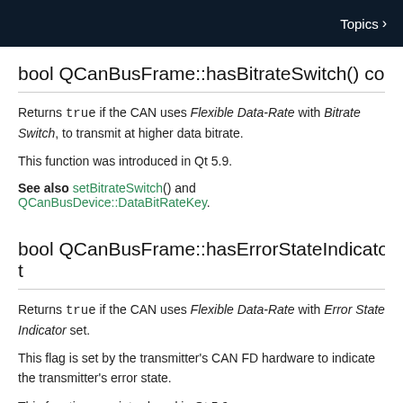Topics >
bool QCanBusFrame::hasBitrateSwitch() const
Returns true if the CAN uses Flexible Data-Rate with Bitrate Switch, to transmit at higher data bitrate.
This function was introduced in Qt 5.9.
See also setBitrateSwitch() and QCanBusDevice::DataBitRateKey.
bool QCanBusFrame::hasErrorStateIndicator() const
Returns true if the CAN uses Flexible Data-Rate with Error State Indicator set.
This flag is set by the transmitter's CAN FD hardware to indicate the transmitter's error state.
This function was introduced in Qt 5.9.
See also setErrorStateIndicator().